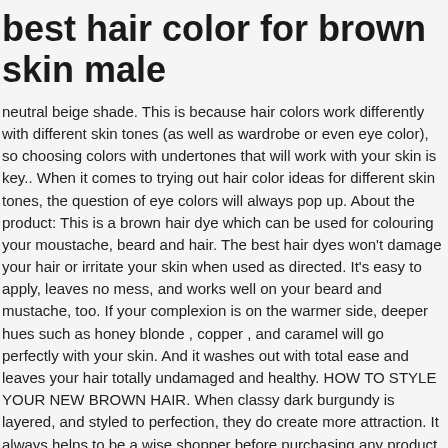best hair color for brown skin male
neutral beige shade. This is because hair colors work differently with different skin tones (as well as wardrobe or even eye color), so choosing colors with undertones that will work with your skin is key.. When it comes to trying out hair color ideas for different skin tones, the question of eye colors will always pop up. About the product: This is a brown hair dye which can be used for colouring your moustache, beard and hair. The best hair dyes won't damage your hair or irritate your skin when used as directed. It's easy to apply, leaves no mess, and works well on your beard and mustache, too. If your complexion is on the warmer side, deeper hues such as honey blonde , copper , and caramel will go perfectly with your skin. And it washes out with total ease and leaves your hair totally undamaged and healthy. HOW TO STYLE YOUR NEW BROWN HAIR. When classy dark burgundy is layered, and styled to perfection, they do create more attraction. It always helps to be a wise shopper before purchasing any product and buying hair dye is no exception. Great for men who've just decided they might do well to put a little extra colour in their hair. So, this time, what is the best hair color for